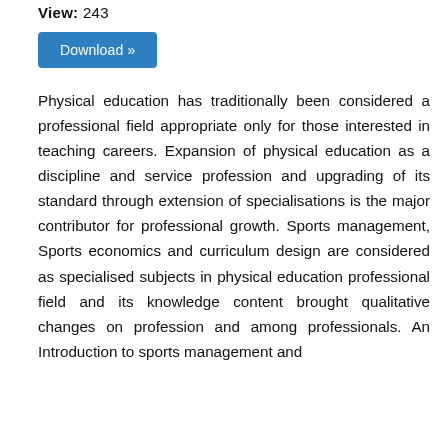View: 243
Download »
Physical education has traditionally been considered a professional field appropriate only for those interested in teaching careers. Expansion of physical education as a discipline and service profession and upgrading of its standard through extension of specialisations is the major contributor for professional growth. Sports management, Sports economics and curriculum design are considered as specialised subjects in physical education professional field and its knowledge content brought qualitative changes on profession and among professionals. An Introduction to sports management and